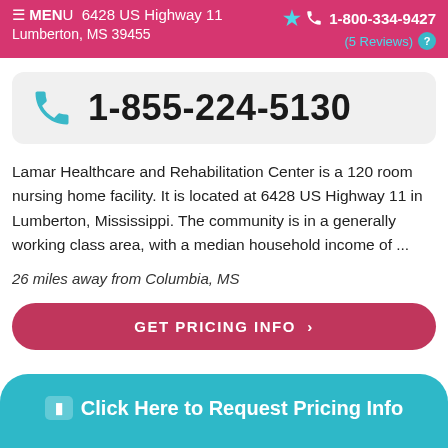6428 US Highway 11 Lumberton, MS 39455 | 1-800-334-9427 (5 Reviews)
1-855-224-5130
Lamar Healthcare and Rehabilitation Center is a 120 room nursing home facility. It is located at 6428 US Highway 11 in Lumberton, Mississippi. The community is in a generally working class area, with a median household income of ...
26 miles away from Columbia, MS
GET PRICING INFO >
Click Here to Request Pricing Info